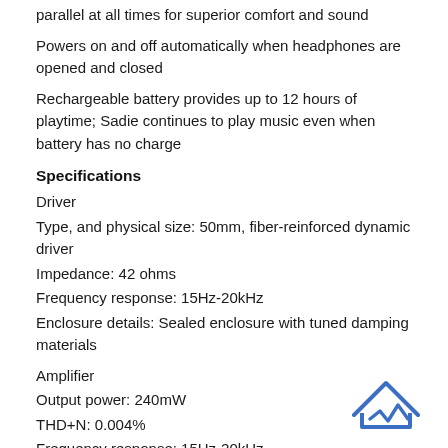parallel at all times for superior comfort and sound
Powers on and off automatically when headphones are opened and closed
Rechargeable battery provides up to 12 hours of playtime; Sadie continues to play music even when battery has no charge
Specifications
Driver
Type, and physical size: 50mm, fiber-reinforced dynamic driver
Impedance: 42 ohms
Frequency response: 15Hz-20kHz
Enclosure details: Sealed enclosure with tuned damping materials
Amplifier
Output power: 240mW
THD+N: 0.004%
Frequency response: 15Hz-20kHz
SNR, self noise: >105 dB
[Figure (logo): Blue house/headphone logo in bottom right corner]